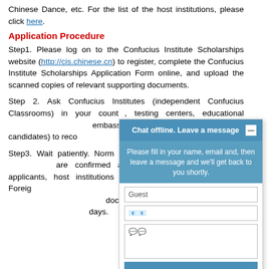Chinese Dance, etc. For the list of the host institutions, please click here.
Application Procedure
Step1. Please log on to the Confucius Institute Scholarships website (http://cis.chinese.cn) to register, complete the Confucius Institute Scholarships Application Form online, and upload the scanned copies of relevant supporting documents.
Step 2. Ask Confucius Institutes (independent Confucius Classrooms) in your country, HSK/HSKK/BCT/YCT testing centers, educational institutions, Chinese embassy and consulate, or (for MTCSOL candidates) to recommend you.
Step3. Wait patiently. Normally, the results will be announced within 45 working days after the applications are confirmed as valid. After being admitted, successful applicants, host institutions will send the Admission Letter, Application Form for Foreigner Physical Examination (JW Form), copy of the scholarship certificate, and other documents to the recommended organization within 30 days.
[Figure (screenshot): Chat offline widget overlay with header 'Chat offline. Leave a message', message prompt, Guest input field, email field, message textarea, and Send message button]